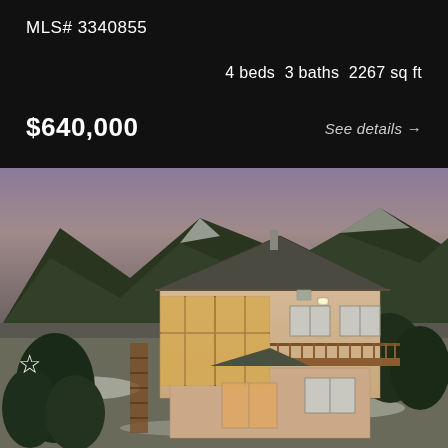MLS# 3340855
4 beds  3 baths  2267 sq ft
$640,000
See details →
[Figure (photo): Aerial view of a two-story stucco house with wood deck and sunroom, surrounded by pine trees and mountains with light snow on the ground at dusk]